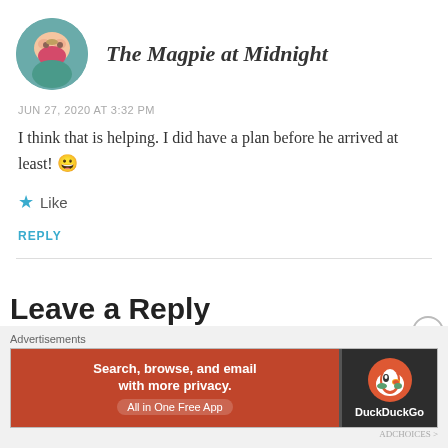[Figure (photo): Circular avatar photo of a baby/child lying on a colorful surface]
The Magpie at Midnight
JUN 27, 2020 AT 3:32 PM
I think that is helping. I did have a plan before he arrived at least! 😀
★ Like
REPLY
Leave a Reply
Advertisements
[Figure (screenshot): DuckDuckGo advertisement banner: 'Search, browse, and email with more privacy. All in One Free App' with DuckDuckGo duck logo on dark background]